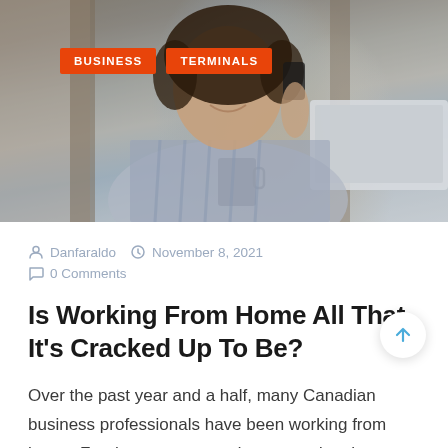[Figure (photo): Woman with curly hair smiling while talking on phone and working on laptop at a desk with a dark mug, in a home office setting. Orange badges 'BUSINESS' and 'TERMINALS' overlaid on photo.]
Danfaraldo  November 8, 2021  0 Comments
Is Working From Home All That It's Cracked Up To Be?
Over the past year and a half, many Canadian business professionals have been working from home. For the subsequent...